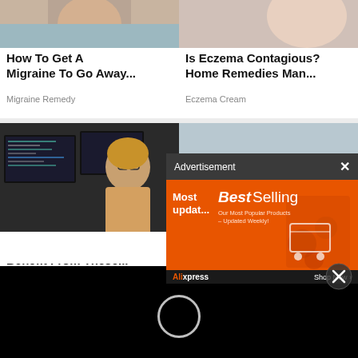[Figure (photo): Cropped image of person, presumably related to migraine remedy]
[Figure (photo): Cropped image of person's arm, presumably related to eczema cream]
How To Get A Migraine To Go Away...
Migraine Remedy
Is Eczema Contagious? Home Remedies Man...
Eczema Cream
[Figure (photo): Woman with glasses smiling in front of computer monitors with code]
[Figure (photo): Car accident photo on road]
Small Businesses May Benefit From These...
Data Storage | Search Ads
A... A...
[Figure (screenshot): Advertisement overlay from AliExpress showing Best Selling products banner]
[Figure (other): Black loading area with circular spinner and close button]